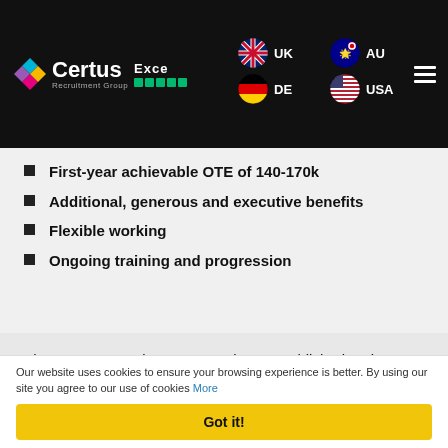Certus Recruitment Group — EXCE UK AU DE USA navigation header
First-year achievable OTE of 140-170k
Additional, generous and executive benefits
Flexible working
Ongoing training and progression
The Certus Recruitment Group is an established and experienced specialist consultancy providing sales, marketing and IT recruitment services to the business community throughout the UK, Europe, North America and
Our website uses cookies to ensure your browsing experience is better. By using our site you agree to our use of cookies More
Got it!